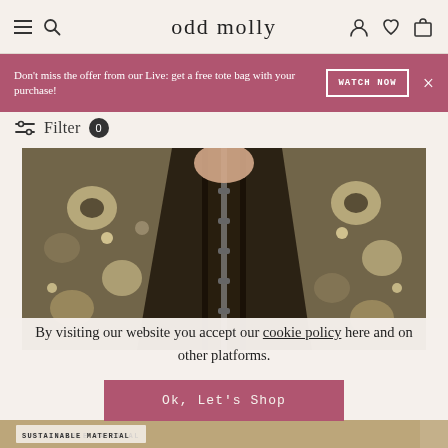odd molly
Don't miss the offer from our Live: get a free tote bag with your purchase!
WATCH NOW
Filter 0
[Figure (photo): Close-up of a woman wearing a black, cream, and grey floral patterned zip-up jacket/cardigan with black trim.]
By visiting our website you accept our cookie policy here and on other platforms.
Ok, Let's Shop
SUSTAINABLE MATERIAL